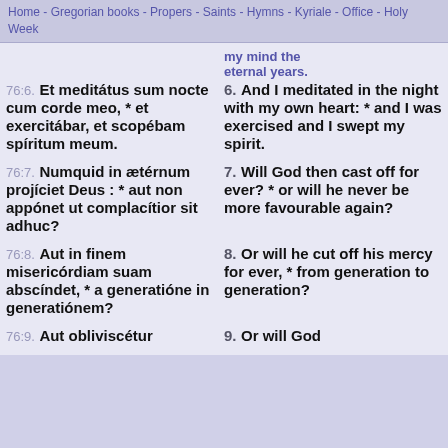Home - Gregorian books - Propers - Saints - Hymns - Kyriale - Office - Holy Week
my mind the eternal years.
76:6. Et meditátus sum nocte cum corde meo, * et exercitábar, et scopébam spíritum meum.
6. And I meditated in the night with my own heart: * and I was exercised and I swept my spirit.
76:7. Numquid in ætérnum projíciet Deus : * aut non appónet ut complacítior sit adhuc?
7. Will God then cast off for ever? * or will he never be more favourable again?
76:8. Aut in finem misericórdiam suam abscíndet, * a generatióne in generatiónem?
8. Or will he cut off his mercy for ever, * from generation to generation?
76:9. Aut obliviscétur
9. Or will God